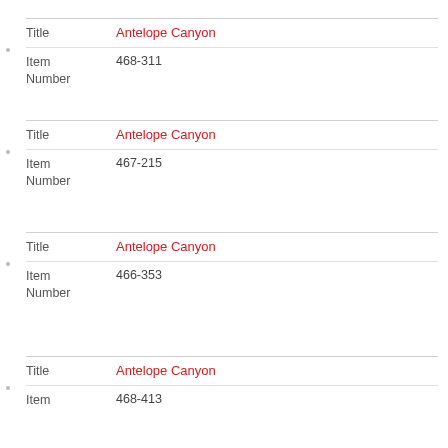| Field | Value |
| --- | --- |
| Title | Antelope Canyon |
| Item Number | 468-311 |
| Field | Value |
| --- | --- |
| Title | Antelope Canyon |
| Item Number | 467-215 |
| Field | Value |
| --- | --- |
| Title | Antelope Canyon |
| Item Number | 466-353 |
| Field | Value |
| --- | --- |
| Title | Antelope Canyon |
| Item Number | 468-413 |